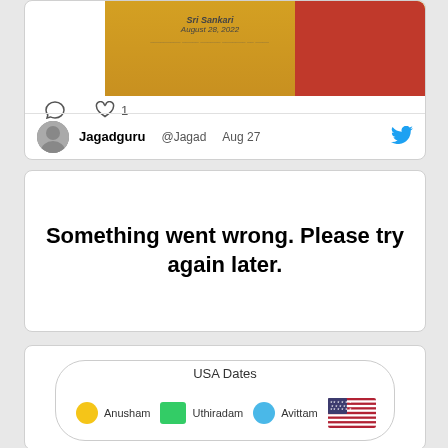[Figure (screenshot): Partial screenshot of a social media post showing a golden/orange colored image with text 'Sri Sankari August 28, 2022', red figure on right, comment and like icons (1 like), and the beginning of another tweet by Jagadguru @Jagad dated Aug 27 with Twitter bird icon.]
Something went wrong. Please try again later.
[Figure (infographic): USA Dates panel showing a rounded rectangle with title 'USA Dates' and a legend with: yellow circle for Anusham, green square for Uthiradam, blue circle for Avittam, and a USA flag icon.]